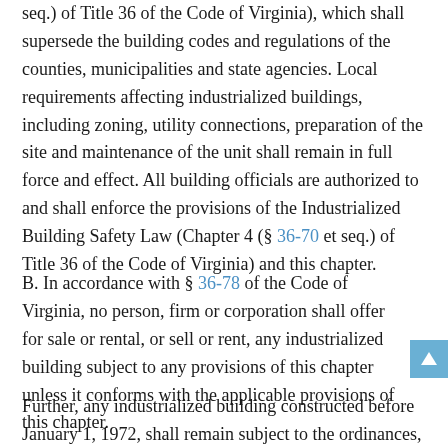seq.) of Title 36 of the Code of Virginia), which shall supersede the building codes and regulations of the counties, municipalities and state agencies. Local requirements affecting industrialized buildings, including zoning, utility connections, preparation of the site and maintenance of the unit shall remain in full force and effect. All building officials are authorized to and shall enforce the provisions of the Industrialized Building Safety Law (Chapter 4 (§ 36-70 et seq.) of Title 36 of the Code of Virginia) and this chapter.
B. In accordance with § 36-78 of the Code of Virginia, no person, firm or corporation shall offer for sale or rental, or sell or rent, any industrialized building subject to any provisions of this chapter unless it conforms with the applicable provisions of this chapter.
Further, any industrialized building constructed before January 1, 1972, shall remain subject to the ordinances, laws or regulations in effect at the time such industrialized building was constructed. Additionall...